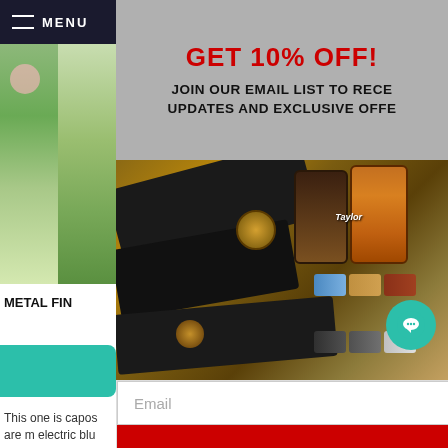MENU
[Figure (photo): Garden/plant photo in green tones split into two columns]
METAL FIN
GET 10% OFF!
JOIN OUR EMAIL LIST TO RECEIVE UPDATES AND EXCLUSIVE OFFERS
[Figure (photo): Guitar straps, phone cases (including Taylor branded), finger picks, and guitar accessories laid out on a wooden surface]
This one is capos are m electric blu
Email